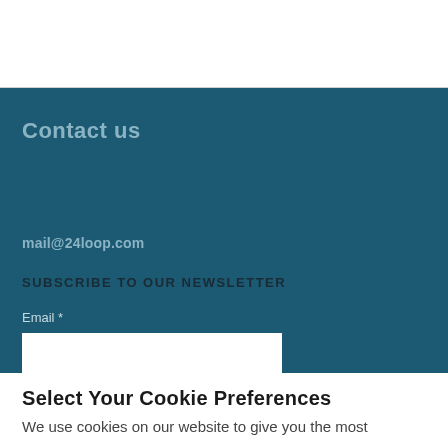Contact us
mail@24loop.com
SUBSCRIBE TO OUR NEWSLETTER
Email *
Select Your Cookie Preferences
We use cookies on our website to give you the most